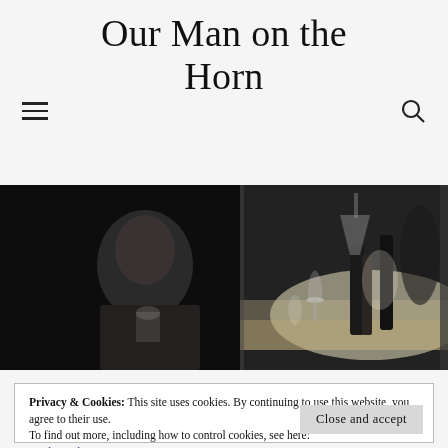Our Man on the Horn
[Figure (photo): Black and white photograph showing a man in a tuxedo/bow tie on the left side in shadow, and a brightly lit bar or restaurant counter on the right with glasses, bottles, and a figure in white in the background.]
Privacy & Cookies: This site uses cookies. By continuing to use this website, you agree to their use.
To find out more, including how to control cookies, see here: Cookie Policy
Close and accept